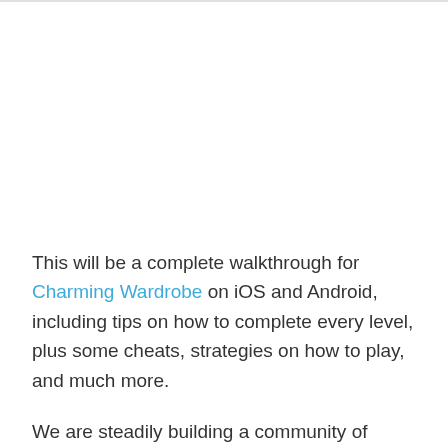This will be a complete walkthrough for Charming Wardrobe on iOS and Android, including tips on how to complete every level, plus some cheats, strategies on how to play, and much more.
We are steadily building a community of gamers trying to help each other. You can share your tips, chat with other players, and find the best gameplay